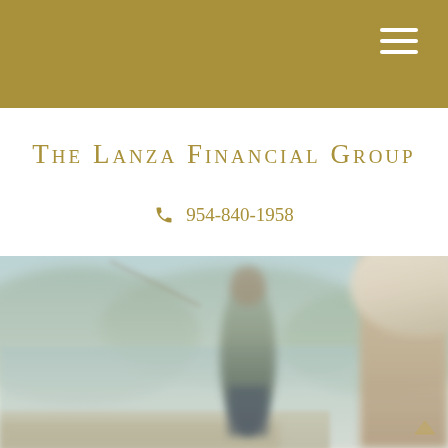The Lanza Financial Group header bar with hamburger menu
The Lanza Financial Group
☎ 954-840-1958
[Figure (photo): Blurred outdoor photo of people fishing by a lake with mountains in the background; one person standing fishing and another person partially visible on right side wearing a hat.]